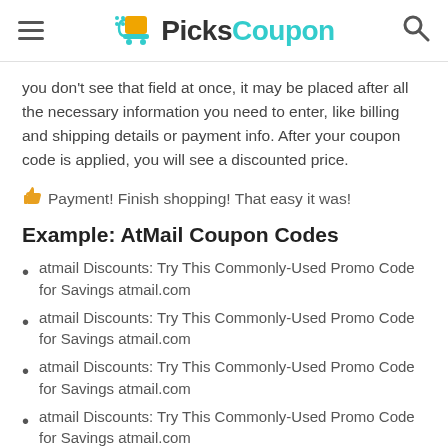PicksCoupon
you don't see that field at once, it may be placed after all the necessary information you need to enter, like billing and shipping details or payment info. After your coupon code is applied, you will see a discounted price.
👍 Payment! Finish shopping! That easy it was!
Example: AtMail Coupon Codes
atmail Discounts: Try This Commonly-Used Promo Code for Savings atmail.com
atmail Discounts: Try This Commonly-Used Promo Code for Savings atmail.com
atmail Discounts: Try This Commonly-Used Promo Code for Savings atmail.com
atmail Discounts: Try This Commonly-Used Promo Code for Savings atmail.com
atmail Discounts: Try This Commonly-Used Promo Code for Savings atmail.com